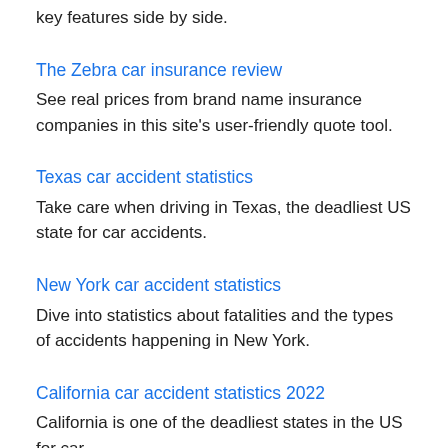key features side by side.
The Zebra car insurance review
See real prices from brand name insurance companies in this site's user-friendly quote tool.
Texas car accident statistics
Take care when driving in Texas, the deadliest US state for car accidents.
New York car accident statistics
Dive into statistics about fatalities and the types of accidents happening in New York.
California car accident statistics 2022
California is one of the deadliest states in the US for car